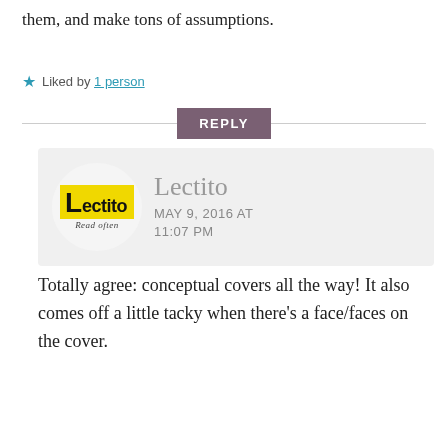them, and make tons of assumptions.
★ Liked by 1 person
REPLY
[Figure (logo): Lectito logo — yellow background with bold 'Lectito' text and 'Read often' tagline]
Lectito
MAY 9, 2016 AT 11:07 PM
Totally agree: conceptual covers all the way! It also comes off a little tacky when there's a face/faces on the cover.